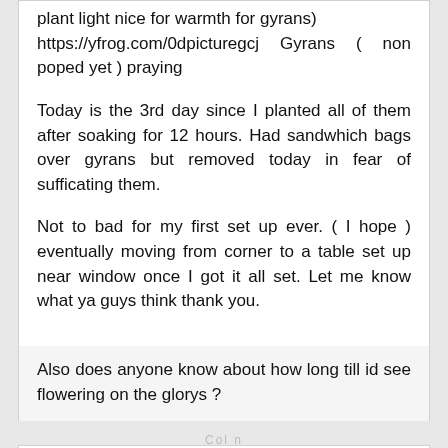plant light nice for warmth for gyrans) https://yfrog.com/0dpicturegcj Gyrans ( non poped yet ) praying
Today is the 3rd day since I planted all of them after soaking for 12 hours. Had sandwhich bags over gyrans but removed today in fear of sufficating them.
Not to bad for my first set up ever. ( I hope ) eventually moving from corner to a table set up near window once I got it all set. Let me know what ya guys think thank you.
Also does anyone know about how long till id see flowering on the glorys ?
syntheticbutterfly
Cool Member